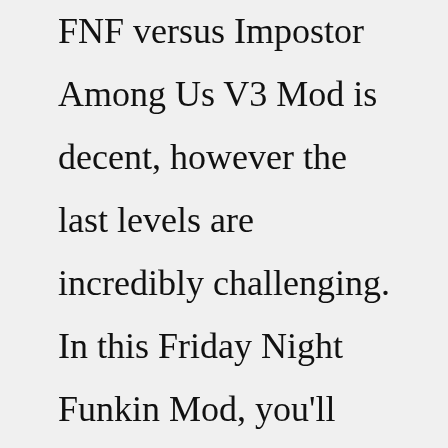FNF versus Impostor Among Us V3 Mod is decent, however the last levels are incredibly challenging. In this Friday Night Funkin Mod, you'll face new opponents. You'll continue your quest to win your Girlfriend's heart in FNF vs Impostor Among Us V3 Mod. Win the rap war against your opponents to persuade your girlfriend's father. About Press Copyright Contact us Creators Advertise Developers Terms Privacy Policy & Safety How